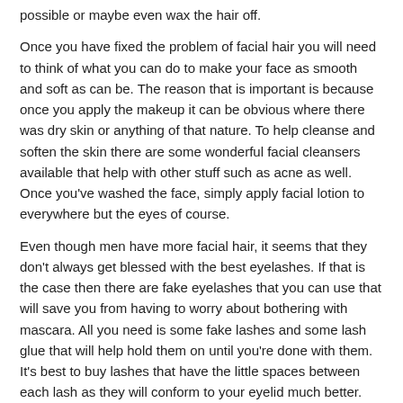possible or maybe even wax the hair off.
Once you have fixed the problem of facial hair you will need to think of what you can do to make your face as smooth and soft as can be. The reason that is important is because once you apply the makeup it can be obvious where there was dry skin or anything of that nature. To help cleanse and soften the skin there are some wonderful facial cleansers available that help with other stuff such as acne as well. Once you've washed the face, simply apply facial lotion to everywhere but the eyes of course.
Even though men have more facial hair, it seems that they don't always get blessed with the best eyelashes. If that is the case then there are fake eyelashes that you can use that will save you from having to worry about bothering with mascara. All you need is some fake lashes and some lash glue that will help hold them on until you're done with them. It's best to buy lashes that have the little spaces between each lash as they will conform to your eyelid much better.
Now that your face is shaved and moisturized you can begin worrying about applying your cross dressing makeup. If there is still hint of a